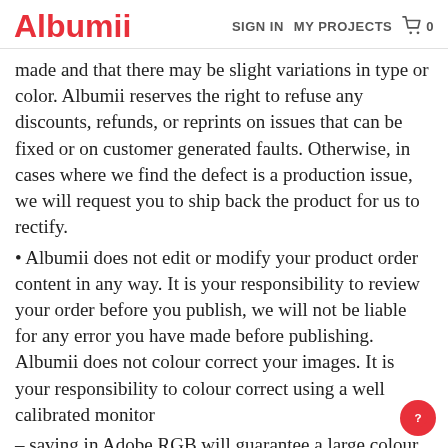Albumii   SIGN IN   MY PROJECTS   🛒 0
made and that there may be slight variations in type or color. Albumii reserves the right to refuse any discounts, refunds, or reprints on issues that can be fixed or on customer generated faults. Otherwise, in cases where we find the defect is a production issue, we will request you to ship back the product for us to rectify.
• Albumii does not edit or modify your product order content in any way. It is your responsibility to review your order before you publish, we will not be liable for any error you have made before publishing. Albumii does not colour correct your images. It is your responsibility to colour correct using a well calibrated monitor
– saving in Adobe RGB will guarantee a large colour range. Albumii is not responsible for images that do not appear to your satisfaction because of inaccurate calibration of monitors and capturing devices used at your end. Albumii uses calibrated printers that produce